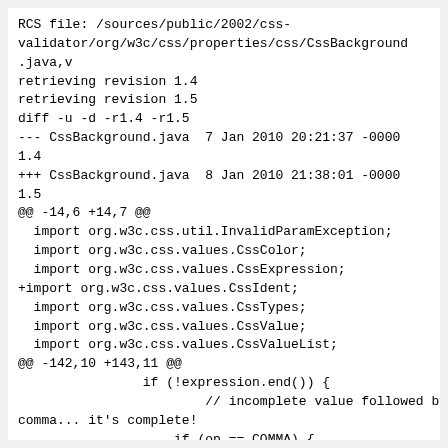RCS file: /sources/public/2002/css-validator/org/w3c/css/properties/css/CssBackground.java,v
retrieving revision 1.4
retrieving revision 1.5
diff -u -d -r1.4 -r1.5
--- CssBackground.java  7 Jan 2010 20:21:37 -0000 1.4
+++ CssBackground.java  8 Jan 2010 21:38:01 -0000 1.5
@@ -14,6 +14,7 @@
  import org.w3c.css.util.InvalidParamException;
  import org.w3c.css.values.CssColor;
  import org.w3c.css.values.CssExpression;
+import org.w3c.css.values.CssIdent;
  import org.w3c.css.values.CssTypes;
  import org.w3c.css.values.CssValue;
  import org.w3c.css.values.CssValueList;
@@ -142,10 +143,11 @@
                if (!expression.end()) {
                        // incomplete value followed by a comma... it's complete!
                    if (op == COMMA) {
+
single_layer.setOperator(SPACE);
                        b_val = check(ac, single_layer, check, false);
                        values.add(b_val);
                        single_layer = null;